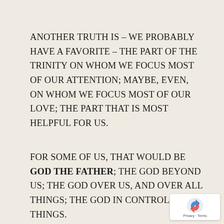ANOTHER TRUTH IS – WE PROBABLY HAVE A FAVORITE – THE PART OF THE TRINITY ON WHOM WE FOCUS MOST OF OUR ATTENTION; MAYBE, EVEN, ON WHOM WE FOCUS MOST OF OUR LOVE; THE PART THAT IS MOST HELPFUL FOR US.
FOR SOME OF US, THAT WOULD BE GOD THE FATHER; THE GOD BEYOND US; THE GOD OVER US, AND OVER ALL THINGS; THE GOD IN CONTROL OF ALL THINGS.